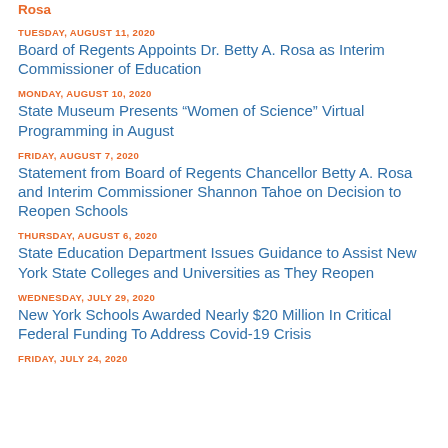Rosa
TUESDAY, AUGUST 11, 2020
Board of Regents Appoints Dr. Betty A. Rosa as Interim Commissioner of Education
MONDAY, AUGUST 10, 2020
State Museum Presents “Women of Science” Virtual Programming in August
FRIDAY, AUGUST 7, 2020
Statement from Board of Regents Chancellor Betty A. Rosa and Interim Commissioner Shannon Tahoe on Decision to Reopen Schools
THURSDAY, AUGUST 6, 2020
State Education Department Issues Guidance to Assist New York State Colleges and Universities as They Reopen
WEDNESDAY, JULY 29, 2020
New York Schools Awarded Nearly $20 Million In Critical Federal Funding To Address Covid-19 Crisis
FRIDAY, JULY 24, 2020